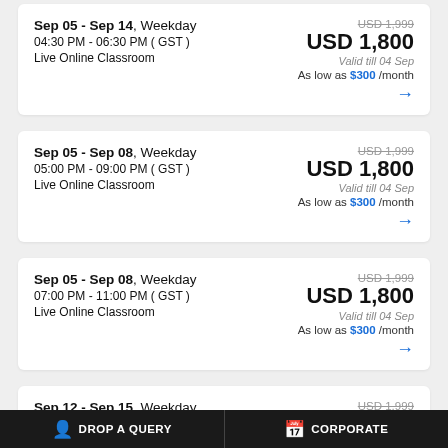Sep 05 - Sep 14, Weekday | 04:30 PM - 06:30 PM ( GST ) | Live Online Classroom | USD 1,999 (crossed) | USD 1,800 | Valid till 04 Sep | As low as $300 /month
Sep 05 - Sep 08, Weekday | 05:00 PM - 09:00 PM ( GST ) | Live Online Classroom | USD 1,999 (crossed) | USD 1,800 | Valid till 04 Sep | As low as $300 /month
Sep 05 - Sep 08, Weekday | 07:00 PM - 11:00 PM ( GST ) | Live Online Classroom | USD 1,999 (crossed) | USD 1,800 | Valid till 04 Sep | As low as $300 /month
Sep 12 - Sep 15, Weekday | USD 1,999 (crossed)
DROP A QUERY   CORPORATE